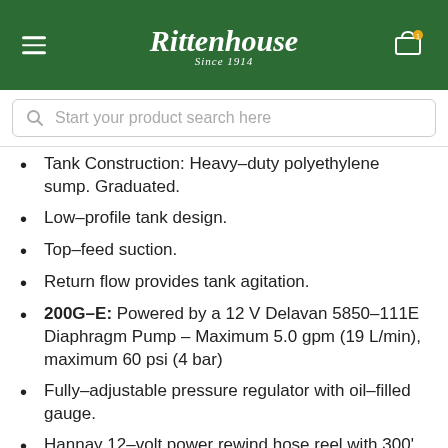Rittenhouse Since 1914
Start your product search here
Tank Construction: Heavy-duty polyethylene sump. Graduated.
Low-profile tank design.
Top-feed suction.
Return flow provides tank agitation.
200G-E: Powered by a 12 V Delavan 5850-111E Diaphragm Pump – Maximum 5.0 gpm (19 L/min), maximum 60 psi (4 bar)
Fully-adjustable pressure regulator with oil-filled gauge.
Hannay 12-volt power rewind hose reel with 300'